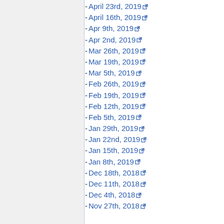- April 23rd, 2019
- April 16th, 2019
- Apr 9th, 2019
- Apr 2nd, 2019
- Mar 26th, 2019
- Mar 19th, 2019
- Mar 5th, 2019
- Feb 26th, 2019
- Feb 19th, 2019
- Feb 12th, 2019
- Feb 5th, 2019
- Jan 29th, 2019
- Jan 22nd, 2019
- Jan 15th, 2019
- Jan 8th, 2019
- Dec 18th, 2018
- Dec 11th, 2018
- Dec 4th, 2018
- Nov 27th, 2018